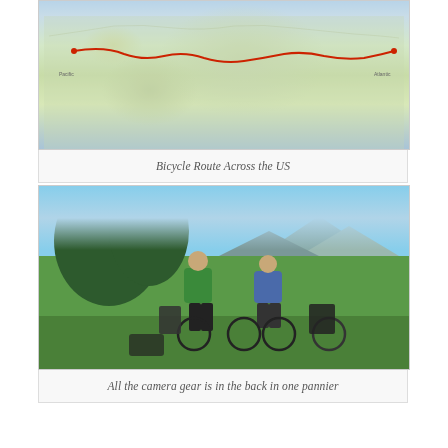[Figure (map): Map of bicycle route across the United States, showing a red route line from the west coast to the east coast across North America]
Bicycle Route Across the US
[Figure (photo): Two cyclists with loaded touring bicycles standing on green grass with trees and mountains in background. Left person wears green shirt and black pants, right person wears blue shirt and black shorts. Both wear helmets.]
All the camera gear is in the back in one pannier